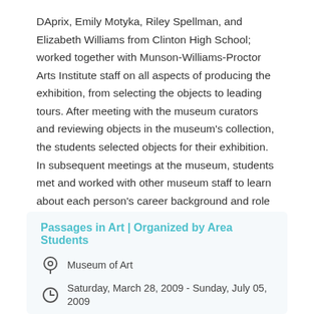DAprix, Emily Motyka, Riley Spellman, and Elizabeth Williams from Clinton High School; worked together with Munson-Williams-Proctor Arts Institute staff on all aspects of producing the exhibition, from selecting the objects to leading tours. After meeting with the museum curators and reviewing objects in the museum's collection, the students selected objects for their exhibition. In subsequent meetings at the museum, students met and worked with other museum staff to learn about each person's career background and role at the museum. The students completed regular assignments and participated in art research, publication design, marketing, exhibition layout, and installation, arranging public programs and tours, and producing an audio guide of the exhibition.
Passages in Art | Organized by Area Students
Museum of Art
Saturday, March 28, 2009 - Sunday, July 05, 2009